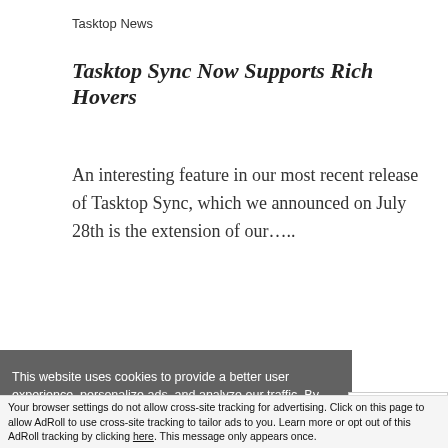Tasktop News
Tasktop Sync Now Supports Rich Hovers
An interesting feature in our most recent release of Tasktop Sync, which we announced on July 28th is the extension of our…..
This website uses cookies to provide a better user experience, personalize ads, and analyze our traffic. By clicking ‘Proceed’ or continuing to browse, you are consenting to the use of cookies. For more information about how we use cookies or to learn how you can disable cookies, click ‘Learn more’.
Learn more
PROCEED
Accept and Close ×
Your browser settings do not allow cross-site tracking for advertising. Click on this page to allow AdRoll to use cross-site tracking to tailor ads to you. Learn more or opt out of this AdRoll tracking by clicking here. This message only appears once.